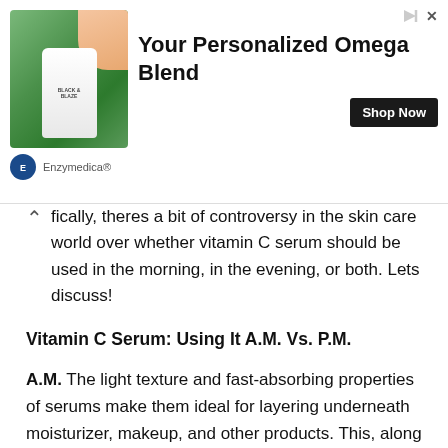[Figure (other): Advertisement banner for Enzymedica Omega supplement. Shows a hand holding a supplement bottle against green plant background. Text reads 'Your Personalized Omega Blend' with a 'Shop Now' button and Enzymedica logo.]
...fically, theres a bit of controversy in the skin care world over whether vitamin C serum should be used in the morning, in the evening, or both. Lets discuss!
Vitamin C Serum: Using It A.M. Vs. P.M.
A.M. The light texture and fast-absorbing properties of serums make them ideal for layering underneath moisturizer, makeup, and other products. This, along with the benefits of vitamin C for skin, is probably why many of us are tempted to use our vitamin C serums during the day.